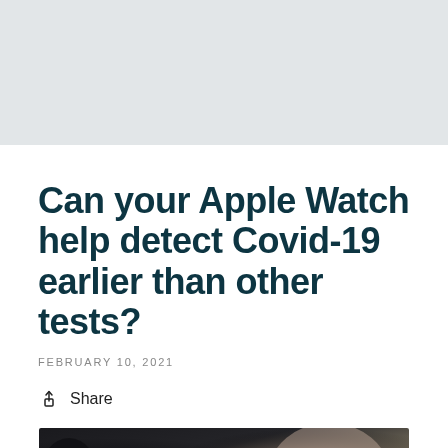[Figure (photo): Gray banner / header image area at the top of the page]
Can your Apple Watch help detect Covid-19 earlier than other tests?
FEBRUARY 10, 2021
Share
[Figure (photo): Dark close-up photo of an Apple Watch being worn on a wrist, showing the watch face and band against a dark background with skin visible on the right side]